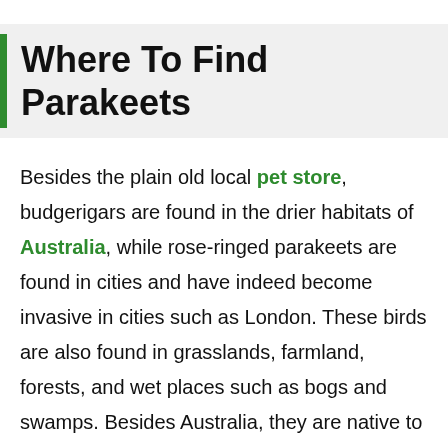Where To Find Parakeets
Besides the plain old local pet store, budgerigars are found in the drier habitats of Australia, while rose-ringed parakeets are found in cities and have indeed become invasive in cities such as London. These birds are also found in grasslands, farmland, forests, and wet places such as bogs and swamps. Besides Australia, they are native to South America and Asia. The now extinct Carolina parakeet with lovely green, yellow and orange plumage was one of the rare species native to the United States.